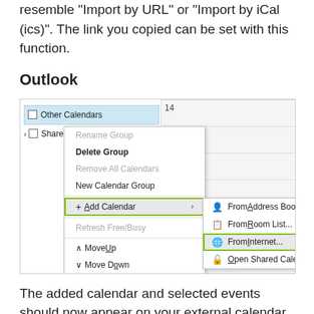resemble "Import by URL" or "Import by iCal (ics)". The link you copied can be set with this function.
Outlook
[Figure (screenshot): Outlook calendar context menu screenshot showing right-click menu on 'Other Calendars' with 'Add Calendar' highlighted and submenu showing options including 'From Internet...' highlighted with green border.]
The added calendar and selected events should now appear on your external calendar. Events are updated on your calendar about every hour. If the